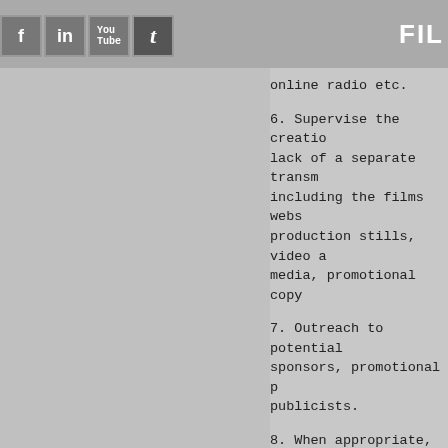FIL
online radio etc.
6. Supervise the creatio... lack of a separate transm... including the films webs... production stills, video a... media, promotional copy...
7. Outreach to potential... sponsors, promotional p... publicists.
8. When appropriate, en...
9. Supervise the creatio...
I have created a number... creation of this position...